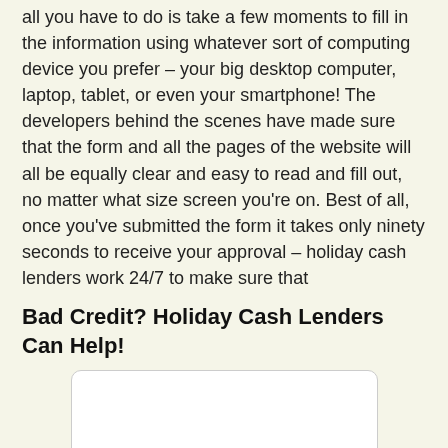all you have to do is take a few moments to fill in the information using whatever sort of computing device you prefer – your big desktop computer, laptop, tablet, or even your smartphone! The developers behind the scenes have made sure that the form and all the pages of the website will all be equally clear and easy to read and fill out, no matter what size screen you're on. Best of all, once you've submitted the form it takes only ninety seconds to receive your approval – holiday cash lenders work 24/7 to make sure that
Bad Credit? Holiday Cash Lenders Can Help!
[Figure (other): A white rounded rectangle placeholder image area]
Have you been struggling through financial crunch times because you believed that credit issues from your past would prevent you from being approved? Holiday cash lenders understand that not everyone has had smooth